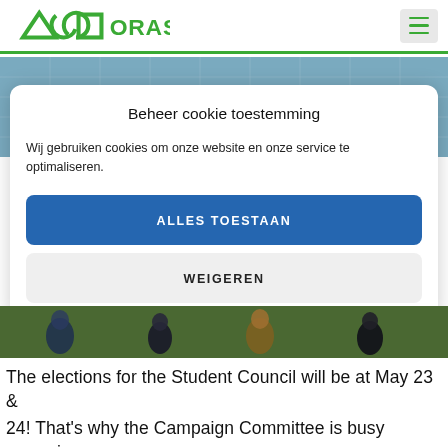ORAS
[Figure (screenshot): Website screenshot with cookie consent modal overlay. The ORAS logo appears in the top-left header. A hamburger menu icon is in the top-right. A green horizontal bar separates the header from a photo of students outside a building. A white modal dialog reads 'Beheer cookie toestemming' with two buttons: 'ALLES TOESTAAN' (blue) and 'WEIGEREN' (grey). Below the modal is a partial photo of students.]
The elections for the Student Council will be at May 23 & 24! That's why the Campaign Committee is busy preparing